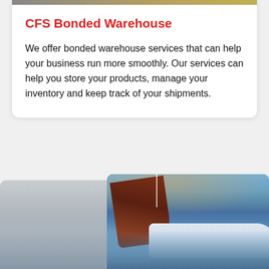[Figure (photo): Top portion of a card showing a partial aerial/road image strip at the top]
CFS Bonded Warehouse
We offer bonded warehouse services that can help your business run more smoothly. Our services can help you store your products, manage your inventory and keep track of your shipments.
[Figure (photo): Bottom-left partial image of a foggy/cloudy scene, possibly a truck or ship in mist]
[Figure (photo): Bottom-right image of a harbor showing a large dark ship hull and a white yacht with blue stripe on blue water, warm orange light on hull]